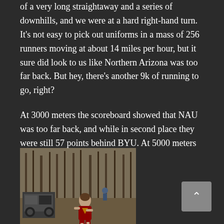of a very long straightaway and a series of downhills, and we were at a hard right-hand turn. It's not easy to pick out uniforms in a mass of 256 runners moving at about 14 miles per hour, but it sure did look to us like Northern Arizona was too far back. But hey, there's another 9k of running to go, right?
At 3000 meters the scoreboard showed that NAU was too far back, and while in second place they were still 57 points behind BYU. At 5000 meters BYU still led by 46.
[Figure (photo): A runner wearing a maroon Virginia Tech jersey running in a cross country race, with a utility vehicle in the background and spectators visible. Wooded area in the background.]